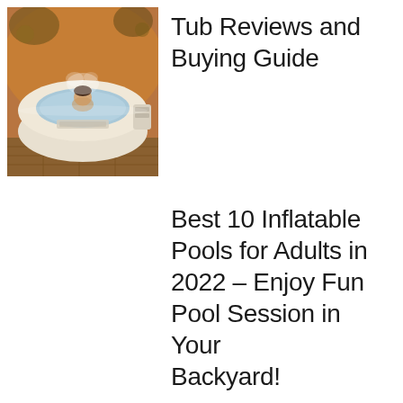[Figure (photo): An inflatable hot tub with a person inside, set on a patio with warm amber lighting and plants in the background. The tub is white/cream colored with a branded label.]
Tub Reviews and Buying Guide
Best 10 Inflatable Pools for Adults in 2022 – Enjoy Fun Pool Session in Your Backyard!